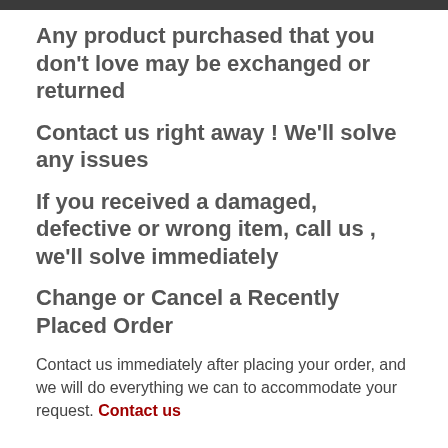Any product purchased that you don't love may be exchanged or returned
Contact us right away ! We'll solve any issues
If you received a damaged, defective or wrong item, call us , we'll solve immediately
Change or Cancel a Recently Placed Order
Contact us immediately after placing your order, and we will do everything we can to accommodate your request. Contact us
EXCHANGE & RETURN GUIDELINES :
You have the right to cancel your online, mail